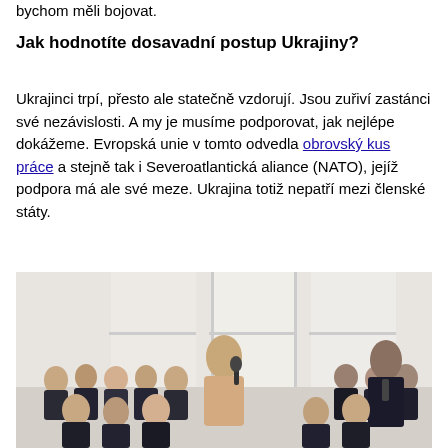bychom měli bojovat.
Jak hodnotíte dosavadní postup Ukrajiny?
Ukrajinci trpí, přesto ale statečně vzdorují. Jsou zuřiví zastánci své nezávislosti. A my je musíme podporovat, jak nejlépe dokážeme. Evropská unie v tomto odvedla obrovský kus práce a stejně tak i Severoatlantická aliance (NATO), jejíž podpora má ale své meze. Ukrajina totiž nepatří mezi členské státy.
[Figure (photo): A young man standing and speaking into a microphone in a bright classroom or lecture hall filled with seated students. Another man in a suit stands to the right.]